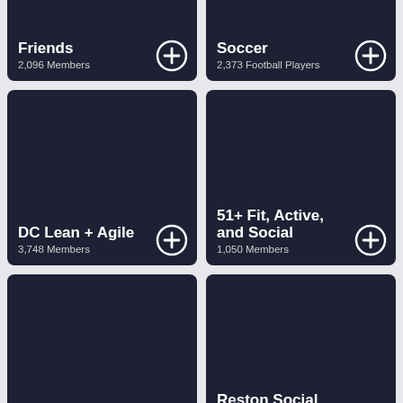[Figure (screenshot): Card: Friends, 2,096 Members, with plus button]
[Figure (screenshot): Card: Soccer, 2,373 Football Players, with plus button]
[Figure (screenshot): Card: DC Lean + Agile, 3,748 Members, with plus button]
[Figure (screenshot): Card: 51+ Fit, Active, and Social, 1,050 Members, with plus button]
[Figure (screenshot): Card: the ArtHouse, 10,754 house warmers, with plus button]
[Figure (screenshot): Card: Reston Social Scene (RSS), 7,467 Socialites, with plus button]